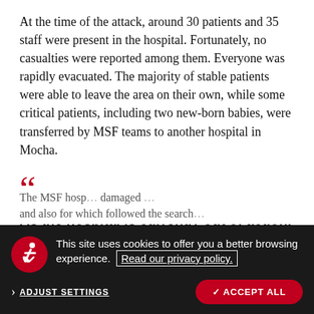At the time of the attack, around 30 patients and 35 staff were present in the hospital. Fortunately, no casualties were reported among them. Everyone was rapidly evacuated. The majority of stable patients were able to leave the area on their own, while some critical patients, including two new-born babies, were transferred by MSF teams to another hospital in Mocha.
As the hospital is currently out of action, the people in the area are now without much-needed, often lifesaving, medical care.
CAROLINE SEGUIN, MANAGER OF MSF PROGRAMMES IN YEMEN
This site uses cookies to offer you a better browsing experience. Read our privacy policy.
ADJUST SETTINGS
✓ ACCEPT ALL
The MSF hosp… damaged …and also for which followed the …